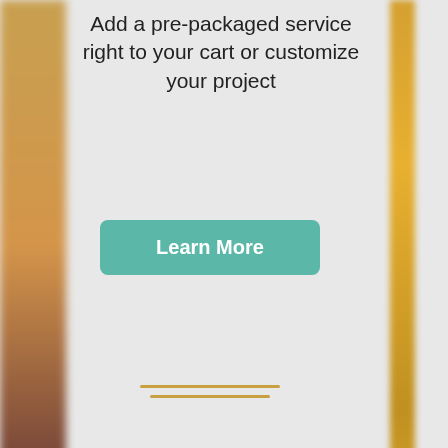Add a pre-packaged service right to your cart or customize your project
Learn More
Pre-packaged
Custom
[Figure (infographic): Decorative horizontal lines icon]
[Figure (infographic): Three star icons in teal color arranged in a triangle]
[Figure (other): Infolinks branded navigation bar]
[Figure (other): Wayfair advertisement banner with appliance image, text Top Appliances Low Prices, and Shop now button]